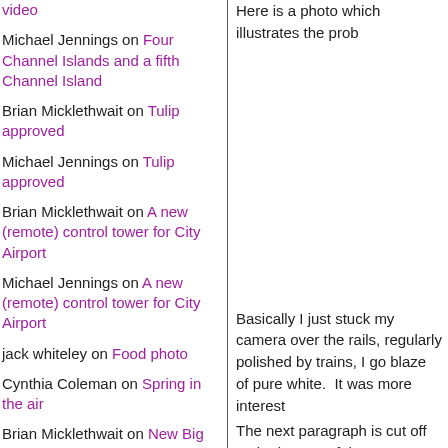video
Michael Jennings on Four Channel Islands and a fifth Channel Island
Brian Micklethwait on Tulip approved
Michael Jennings on Tulip approved
Brian Micklethwait on A new (remote) control tower for City Airport
Michael Jennings on A new (remote) control tower for City Airport
jack whiteley on Food photo
Cynthia Coleman on Spring in the air
Brian Micklethwait on New Big Thin Things in New York
Monthly Archives
May 2019
April 2019
Here is a photo which illustrates the prob
[Figure (photo): Photo area - blank/white]
Basically I just stuck my camera over the rails, regularly polished by trains, I go blaze of pure white.  It was more interest
The next paragraph continues below...